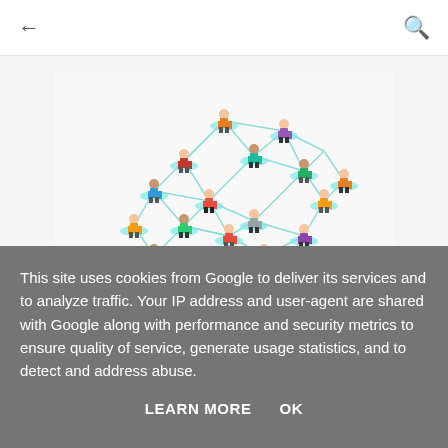← [back]   [search]
[Figure (illustration): Network illustration showing colorful cartoon people standing on circular platforms connected by a web of teal/cyan lines, representing a social or professional network.]
Time efficient – working with your schedule
In-house training allows employees to put their new found
This site uses cookies from Google to deliver its services and to analyze traffic. Your IP address and user-agent are shared with Google along with performance and security metrics to ensure quality of service, generate usage statistics, and to detect and address abuse.
LEARN MORE   OK